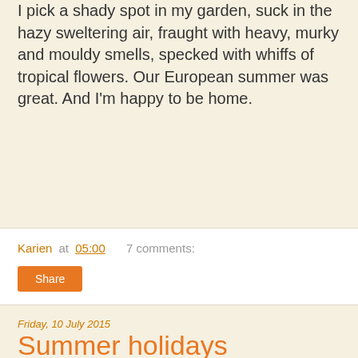I pick a shady spot in my garden, suck in the hazy sweltering air, fraught with heavy, murky and mouldy smells, specked with whiffs of tropical flowers. Our European summer was great. And I'm happy to be home.
Karien at 05:00   7 comments:
Share
Friday, 10 July 2015
Summer holidays
I am typing away, answering well-overdue work messages. Behind me fighting erupts, screaming and loud thuds. They are playing a game of rainbow snakes, a friendly and simple card game for all ages. Battle snakes, more likely, given the racket. I ignore it. With success. The clamour dies down. Possibly my kids...